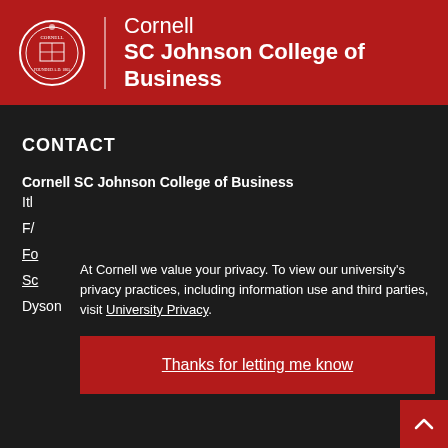[Figure (logo): Cornell SC Johnson College of Business header with Cornell seal, vertical divider, and white text reading Cornell SC Johnson College of Business on dark red background]
CONTACT
Cornell SC Johnson College of Business
Itl
F/
Fo
Sc
Dyson
At Cornell we value your privacy. To view our university's privacy practices, including information use and third parties, visit University Privacy.
Thanks for letting me know